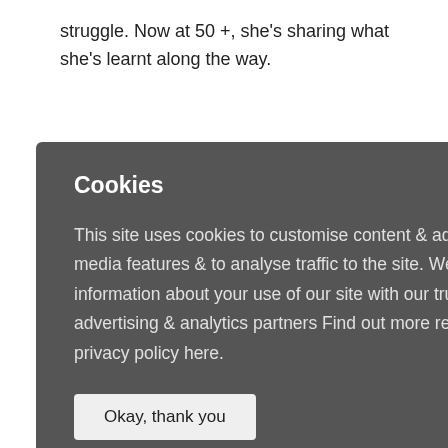struggle. Now at 50 +, she's sharing what she's learnt along the way.
[Figure (screenshot): Cookie consent overlay on a dark gray background with title 'Cookies', body text about cookie usage, and an 'Okay, thank you' button]
[Figure (photo): Partially visible image showing women in bikinis on a purple background, behind the cookie overlay]
ow to lose eight
10, 2018 | 0 nments
Jun 9, 2018 | 0 Comments